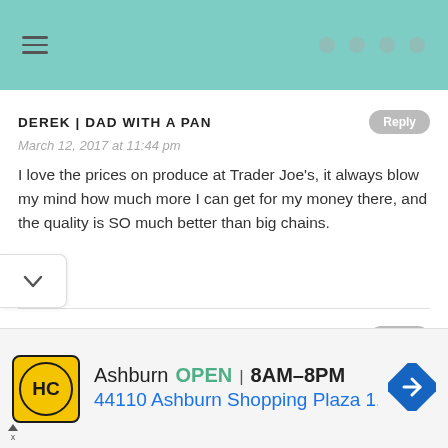DEREK | DAD WITH A PAN
March 12, 2017 at 11:44 pm
I love the prices on produce at Trader Joe's, it always blow my mind how much more I can get for my money there, and the quality is SO much better than big chains.
KRISTINE
March 14, 2017 at 4:53 pm
I'm glad to see there's another Trader Joes' fan out there! Thanks
[Figure (infographic): Advertisement banner: HC logo, Ashburn OPEN 8AM-8PM, 44110 Ashburn Shopping Plaza 1.]